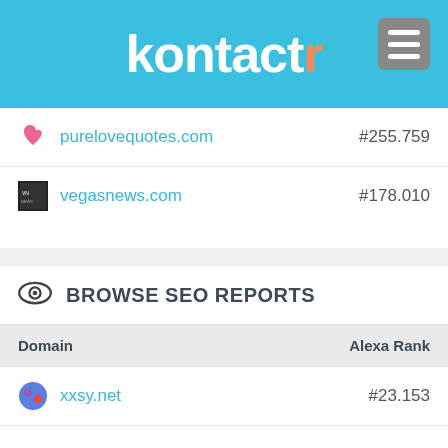kontactr
| Domain | Alexa Rank |
| --- | --- |
| purelovequotes.com | #255.759 |
| vegasnews.com | #178.010 |
BROWSE SEO REPORTS
| Domain | Alexa Rank |
| --- | --- |
| xxsy.net | #23.153 |
| keyingredient.com | #100.637 |
| cavanorautorentals.com | #546.423 |
| rhettakins.com | No data |